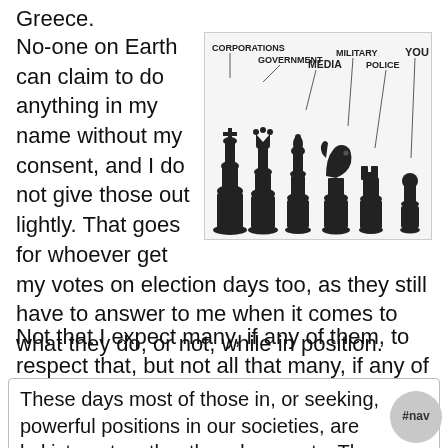Greece.
No-one on Earth can claim to do anything in my name without my consent, and I do not give those out lightly. That goes for whoever get my votes on election days too, as they still have to answer to me when it comes to what they do, or not, while in position.
[Figure (illustration): Chess pieces labeled with societal roles from tallest to smallest: Corporations (king), Government (queen), Media (bishop), Military (knight), Police (rook), YOU (pawn)]
Not that I expect many, if any of them, to respect that, but not all that many, if any of them, deserve any respect from me either.
These days most of those in, or seeking, powerful positions in our societies, are kakistocrats rather than democrats. Thus, no reason to wonder why humanity, along with the environment and all that lives, get treated as